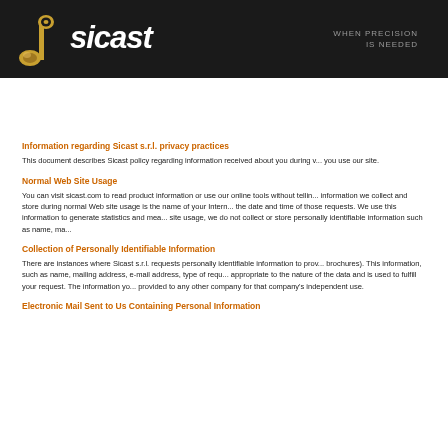[Figure (logo): Sicast company logo on dark background with tagline WHEN PRECISION IS NEEDED]
Information regarding Sicast s.r.l. privacy practices
This document describes Sicast policy regarding information received about you during v... you use our site.
Normal Web Site Usage
You can visit sicast.com to read product information or use our online tools without tellin... information we collect and store during normal Web site usage is the name of your Intern... the date and time of those requests. We use this information to generate statistics and mea... site usage, we do not collect or store personally identifiable information such as name, ma...
Collection of Personally Identifiable Information
There are instances where Sicast s.r.l. requests personally identifiable information to prov... brochures). This information, such as name, mailing address, e-mail address, type of requ... appropriate to the nature of the data and is used to fulfill your request. The information yo... provided to any other company for that company's independent use.
Electronic Mail Sent to Us Containing Personal Information